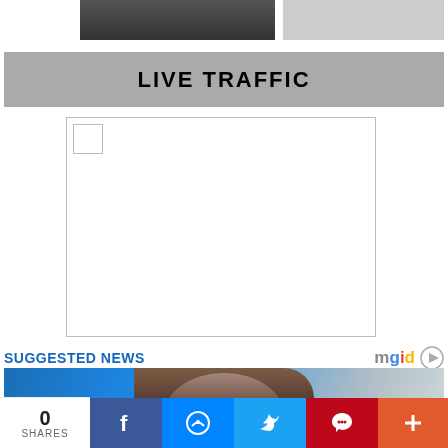[Figure (photo): Top image strip showing partial photos cropped at the top edge]
LIVE TRAFFIC
[Figure (other): Empty widget box with a small checkbox-like square in top-left corner]
SUGGESTED NEWS
[Figure (logo): mgid logo with play button icon]
[Figure (photo): News article thumbnail showing a woman with curly hair against a blue background]
0
SHARES